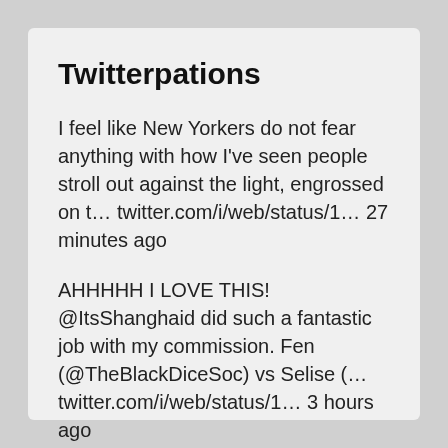Twitterpations
I feel like New Yorkers do not fear anything with how I've seen people stroll out against the light, engrossed on t… twitter.com/i/web/status/1… 27 minutes ago
AHHHHH I LOVE THIS! @ItsShanghaid did such a fantastic job with my commission. Fen (@TheBlackDiceSoc) vs Selise (… twitter.com/i/web/status/1… 3 hours ago
Follow @cypheroftyr